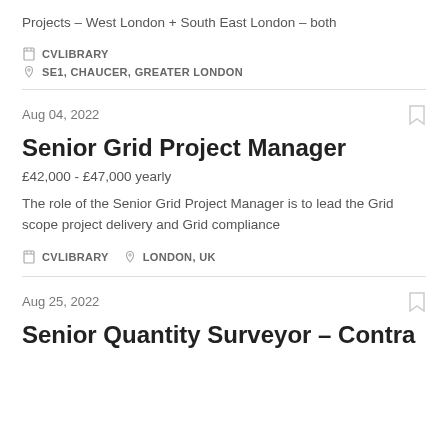Projects – West London + South East London – both
CVLIBRARY
SE1, CHAUCER, GREATER LONDON
Aug 04, 2022
Senior Grid Project Manager
£42,000 - £47,000 yearly
The role of the Senior Grid Project Manager is to lead the Grid scope project delivery and Grid compliance
CVLIBRARY
LONDON, UK
Aug 25, 2022
Senior Quantity Surveyor – Contract